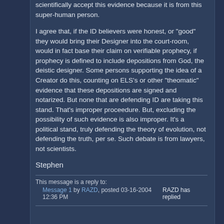scientifically accept this evidence because it is from this super-human person.
I agree that, if the ID believers were honest, or "good" they would bring their Designer into the court-room, would in fact base their claim on verifiable prophecy, if prophecy is defined to include depositions from God, the deistic designer. Some persons supporting the idea of a Creator do this, counting on ELS's or other "theomatic" evidence that these depositions are signed and notarized. But none that are defending ID are taking this stand. That's improper proceedure. But, excluding the possibility of such evidence is also improper. It's a political stand, truly defending the theory of evolution, not defending the truth, per se. Such debate is from lawyers, not scientists.
Stephen
This message is a reply to:
Message 1 by RAZD, posted 03-16-2004 12:36 PM
RAZD has replied